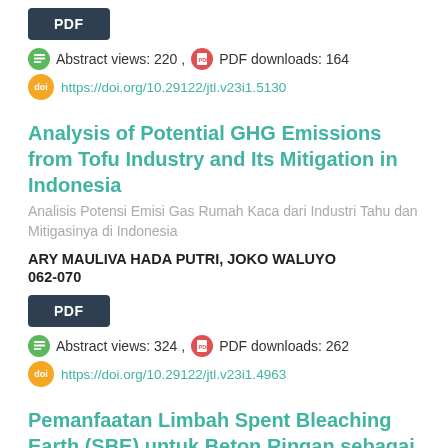[Figure (other): PDF download button]
Abstract views: 220 ,  PDF downloads: 164
https://doi.org/10.29122/jtl.v23i1.5130
Analysis of Potential GHG Emissions from Tofu Industry and Its Mitigation in Indonesia
Analisis Potensi Emisi Gas Rumah Kaca dari Industri Tahu dan Mitigasinya di Indonesia
ARY MAULIVA HADA PUTRI, JOKO WALUYO
062-070
[Figure (other): PDF download button]
Abstract views: 324 ,  PDF downloads: 262
https://doi.org/10.29122/jtl.v23i1.4963
Pemanfaatan Limbah Spent Bleaching Earth (SBE) untuk Beton Ringan sebagai Material Konstruksi yang Ramah Lingkungan